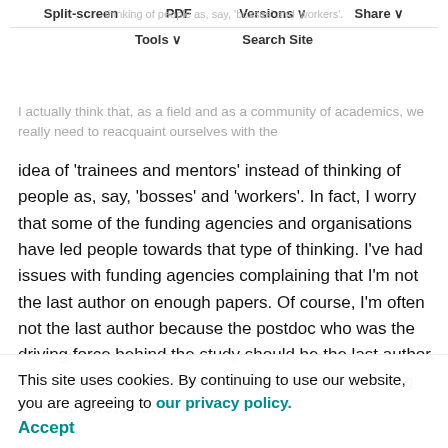Split-screen | PDF | Versions | Share | Tools | Search Site
idea of 'trainees and mentors' instead of thinking of people as, say, 'bosses' and 'workers'. In fact, I worry that some of the funding agencies and organisations have led people towards that type of thinking. I've had issues with funding agencies complaining that I'm not the last author on enough papers. Of course, I'm often not the last author because the postdoc who was the driving force behind the study should be the last author. I think that's more honest and is fantastic for building their careers. I don't think it
This site uses cookies. By continuing to use our website, you are agreeing to our privacy policy. Accept